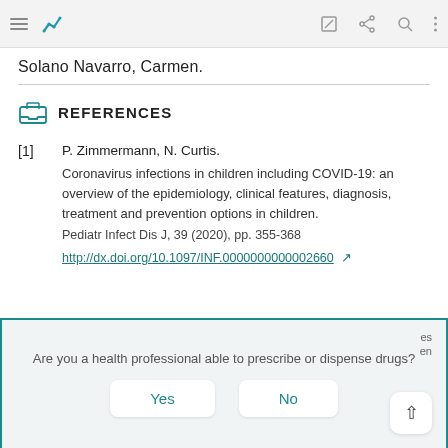Toolbar with navigation icons
Solano Navarro, Carmen.
REFERENCES
[1] P. Zimmermann, N. Curtis. Coronavirus infections in children including COVID-19: an overview of the epidemiology, clinical features, diagnosis, treatment and prevention options in children. Pediatr Infect Dis J, 39 (2020), pp. 355-368 http://dx.doi.org/10.1097/INF.0000000000002660
Are you a health professional able to prescribe or dispense drugs? Yes No